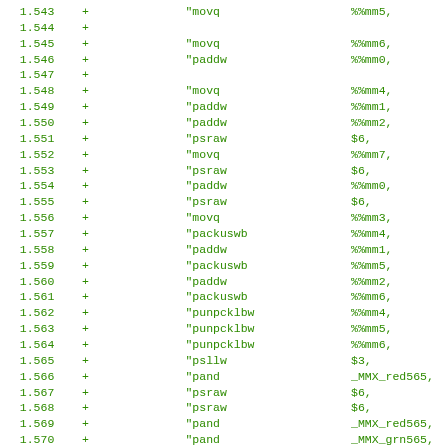1.543 +    "movq      %%mm5,   8
1.544 +
1.545 +    "movq      %%mm6,   %%
1.546 +    "paddw     %%mm0,   %%
1.547 +
1.548 +    "movq      %%mm4,   %%
1.549 +    "paddw     %%mm1,   %%
1.550 +    "paddw     %%mm2,   %%
1.551 +    "psraw     $6,      %%
1.552 +    "movq      %%mm7,   %%
1.553 +    "psraw     $6,      %%
1.554 +    "paddw     %%mm0,   %%
1.555 +    "psraw     $6,      %%
1.556 +    "movq      %%mm3,   %%
1.557 +    "packuswb  %%mm4,   %%
1.558 +    "paddw     %%mm1,   %%
1.559 +    "packuswb  %%mm5,   %%
1.560 +    "paddw     %%mm2,   %%
1.561 +    "packuswb  %%mm6,   %%
1.562 +    "punpcklbw %%mm4,   %%
1.563 +    "punpcklbw %%mm5,   %%
1.564 +    "punpcklbw %%mm6,   %%
1.565 +    "psllw     $3,      %%
1.566 +    "pand      _MMX_red565, %%
1.567 +    "psraw     $6,      %%
1.568 +    "psraw     $6,      %%
1.569 +    "pand      _MMX_red565, %%
1.570 +    "pand      _MMX_grn565, %%
1.571 +    "psrlw     $11,     %%
1.572 +    "por       %%mm5,   %%
1.573 +    "psraw     $6,      %%
1.574 +    "por       %%mm6,   %%